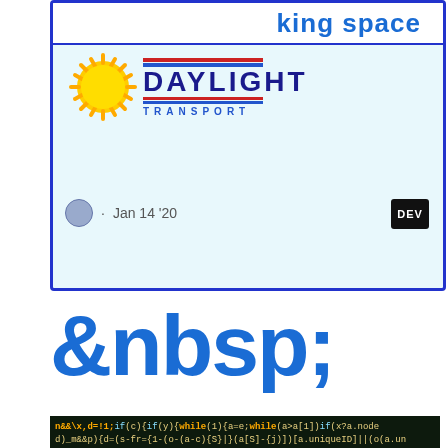[Figure (screenshot): Screenshot of a blog post card about non-breaking space, showing Daylight Transport logo, date Jan 14 '20, and DEV badge. Blue border on light blue background.]
&nbsp;
[Figure (screenshot): Screenshot of minified JavaScript code on dark background with NBSP label banner overlay and alamy watermarks. Includes a white up-arrow button.]